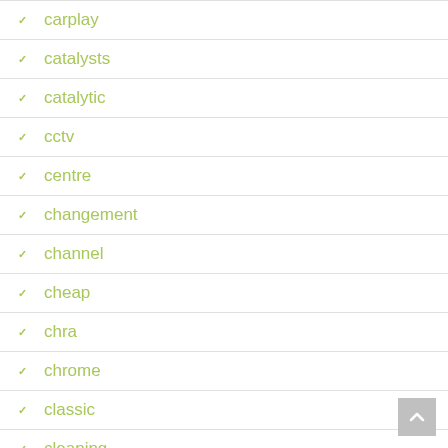carplay
catalysts
catalytic
cctv
centre
changement
channel
cheap
chra
chrome
classic
cleaning
clear
clutch